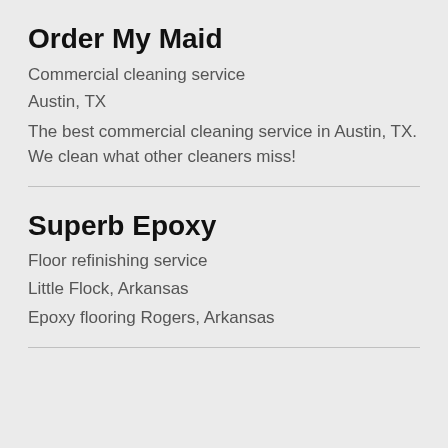Order My Maid
Commercial cleaning service
Austin, TX
The best commercial cleaning service in Austin, TX. We clean what other cleaners miss!
Superb Epoxy
Floor refinishing service
Little Flock, Arkansas
Epoxy flooring Rogers, Arkansas